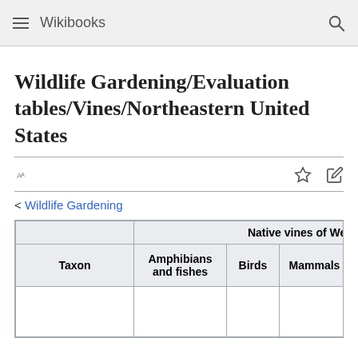Wikibooks
Wildlife Gardening/Evaluation tables/Vines/Northeastern United States
< Wildlife Gardening
| Taxon | Amphibians and fishes | Birds | Mammals |  |
| --- | --- | --- | --- | --- |
|  |  |  |  |  |